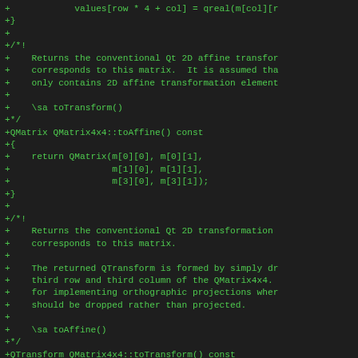[Figure (screenshot): Source code diff showing C++ Qt library code additions — QMatrix4x4::toAffine() and QMatrix4x4::toTransform() methods with Doxygen comments, displayed in a dark terminal/IDE with green monospace text.]